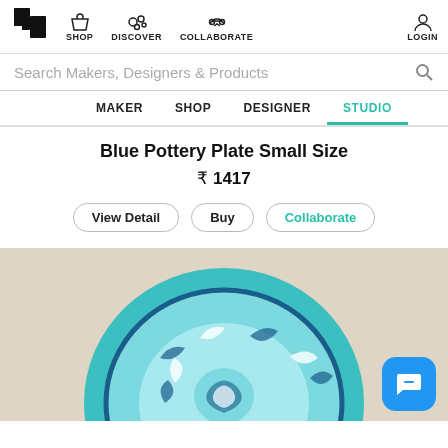SHOP | DISCOVER | COLLABORATE | LOGIN
Search Makers, Designers & Products
MAKER | SHOP | DESIGNER | STUDIO
Blue Pottery Plate Small Size
₹ 1417
View Detail | Buy | Collaborate
[Figure (photo): A blue pottery plate with white and blue floral/paisley pattern on a beige background, partially visible chat support button in corner]